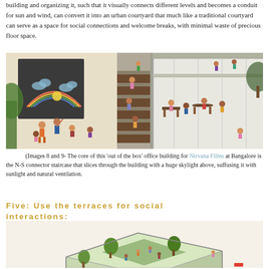building and organizing it, such that it visually connects different levels and becomes a conduit for sun and wind, can convert it into an urban courtyard that much like a traditional courtyard can serve as a space for social connections and welcome breaks, with minimal waste of precious floor space.
[Figure (illustration): Illustration of children playing and learning inside a modern office/school building with a large staircase in the center, a blackboard wall on the left with drawings of clouds and a rainbow, and a glass-walled room on the right with tables and more children.]
(Images 8 and 9- The core of this 'out of the box' office building for Nirvana Films at Bangalore is the N-S connector staircase that slices through the building with a huge skylight above, suffusing it with sunlight and natural ventilation.
Five: Use the terraces for social interactions:
[Figure (illustration): Illustration of a terrace/rooftop space with trees, people, and green areas shown in an axonometric/isometric view of a modern building.]